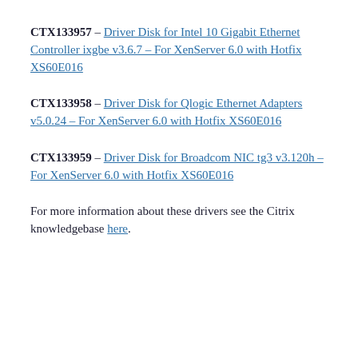CTX133957 – Driver Disk for Intel 10 Gigabit Ethernet Controller ixgbe v3.6.7 – For XenServer 6.0 with Hotfix XS60E016
CTX133958 – Driver Disk for Qlogic Ethernet Adapters v5.0.24 – For XenServer 6.0 with Hotfix XS60E016
CTX133959 – Driver Disk for Broadcom NIC tg3 v3.120h – For XenServer 6.0 with Hotfix XS60E016
For more information about these drivers see the Citrix knowledgebase here.